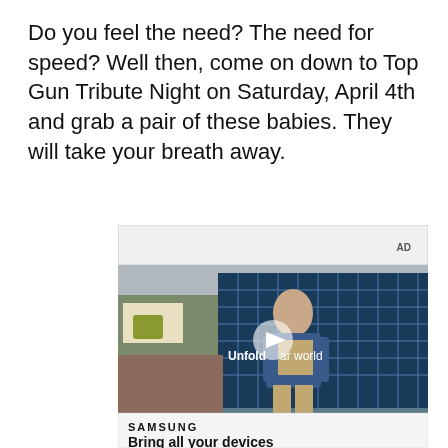Do you feel the need? The need for speed? Well then, come on down to Top Gun Tribute Night on Saturday, April 4th and grab a pair of these babies. They will take your breath away.
[Figure (screenshot): An advertisement showing a young man in a denim jacket standing in front of blue-tiled windows, with text 'Unfold your world' and a play button overlay. Below is a Samsung logo and partial text 'Bring all your devices'. Labeled 'AD' in top right.]